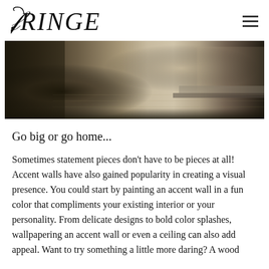FRINGE
[Figure (photo): Black and white / sepia-toned interior photo showing a decorative furry throw pillow and an ornate upholstered furniture piece on a light wood floor]
Go big or go home...
Sometimes statement pieces don't have to be pieces at all! Accent walls have also gained popularity in creating a visual presence. You could start by painting an accent wall in a fun color that compliments your existing interior or your personality. From delicate designs to bold color splashes, wallpapering an accent wall or even a ceiling can also add appeal. Want to try something a little more daring? A wood